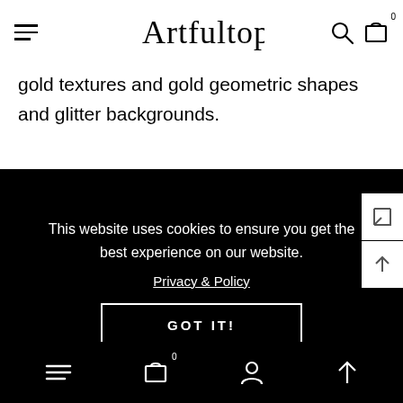Artfultopia — navigation header with hamburger menu, logo, search and cart icons
gold textures and gold geometric shapes and glitter backgrounds.
This website uses cookies to ensure you get the best experience on our website.

Privacy & Policy

GOT IT!
With our transparent watercolor textures set, you will be able to create beautiful and unique greeting cards, logo designs, invitations, digital art, and more.
Bottom navigation bar with menu, cart (0), account, and scroll-up icons